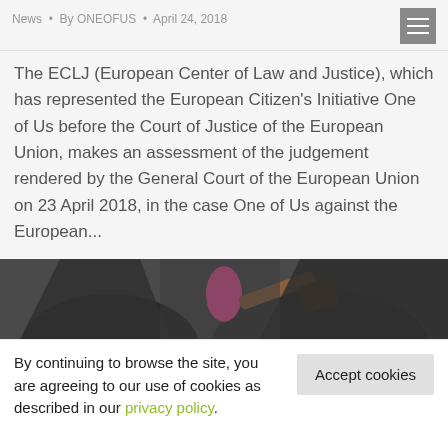News · By ONEOFUS · April 24, 2018
The ECLJ (European Center of Law and Justice), which has represented the European Citizen's Initiative One of Us before the Court of Justice of the European Union, makes an assessment of the judgement rendered by the General Court of the European Union on 23 April 2018, in the case One of Us against the European...
[Figure (photo): Close-up photo of a judge or court official in dark robes holding a wooden gavel, with a pink accent color visible]
By continuing to browse the site, you are agreeing to our use of cookies as described in our privacy policy.